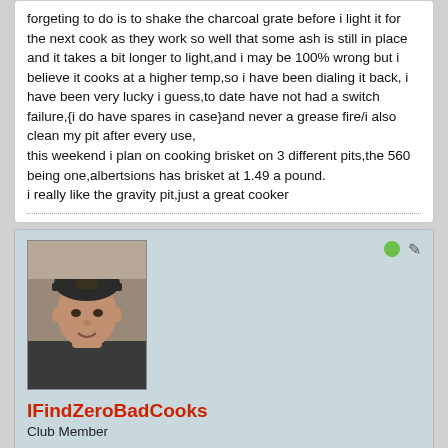forgeting to do is to shake the charcoal grate before i light it for the next cook as they work so well that some ash is still in place and it takes a bit longer to light,and i may be 100% wrong but i believe it cooks at a higher temp,so i have been dialing it back, i have been very lucky i guess,to date have not had a switch failure,{i do have spares in case}and never a grease fire/i also clean my pit after every use,
this weekend i plan on cooking brisket on 3 different pits,the 560 being one,albertsions has brisket at 1.49 a pound.
i really like the gravity pit,just a great cooker
[Figure (photo): Profile photo of user IFindZeroBadCooks: a person wearing a dark baseball cap, looking at the camera, with a neutral background.]
IFindZeroBadCooks
Club Member
Joined: Mar 2020    Posts: 2336
Location: Near Chicago, IL
July 17, 2021, 07:25 AM
Top | #6